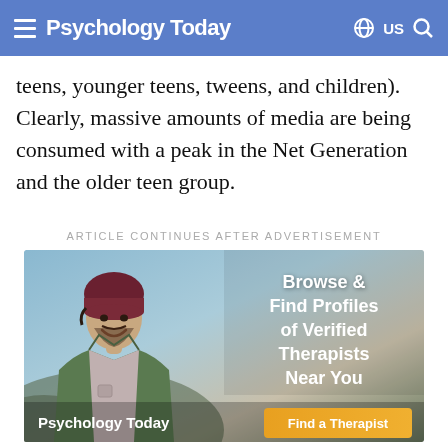Psychology Today — US
teens, younger teens, tweens, and children). Clearly, massive amounts of media are being consumed with a peak in the Net Generation and the older teen group.
ARTICLE CONTINUES AFTER ADVERTISEMENT
[Figure (infographic): Psychology Today advertisement showing a young man smiling outdoors wearing a dark beanie hat and open jacket. Text reads: Browse & Find Profiles of Verified Therapists Near You. Psychology Today logo and Find a Therapist button.]